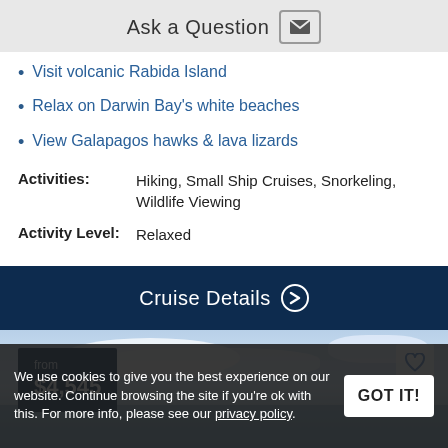Ask a Question
Visit volcanic Rabida Island
Relax on Darwin Bay’s white beaches
View Galapagos hawks & lava lizards
Activities: Hiking, Small Ship Cruises, Snorkeling, Wildlife Viewing
Activity Level: Relaxed
Cruise Details ➡
[Figure (photo): Coastal landscape scene with a blue sky, clouds, rocky shoreline and water]
from $4,545
We use cookies to give you the best experience on our website. Continue browsing the site if you’re ok with this. For more info, please see our privacy policy.